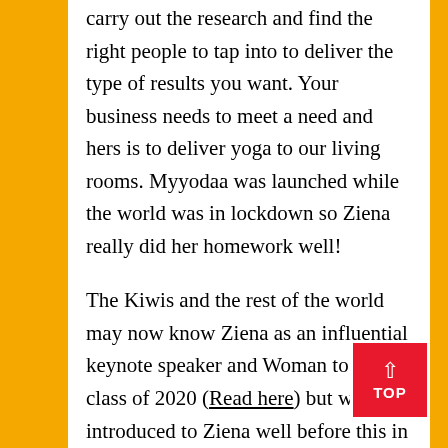carry out the research and find the right people to tap into to deliver the type of results you want. Your business needs to meet a need and hers is to deliver yoga to our living rooms. Myyodaa was launched while the world was in lockdown so Ziena really did her homework well!
The Kiwis and the rest of the world may now know Ziena as an influential keynote speaker and Woman to Watch class of 2020 (Read here) but we were introduced to Ziena well before this in year 2 and we knew she was phenomenal. She was the new girl in class and her mother's blue Honda became a regular feature in our all-girls school. That Blue Honda was our equivalent to Rosie the Riverter even before knew of the word feminism, and it represented m of the things the allegorical arm flexing Rosie did – a